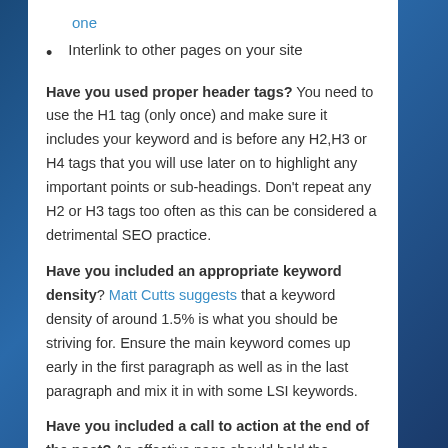one
Interlink to other pages on your site
Have you used proper header tags? You need to use the H1 tag (only once) and make sure it includes your keyword and is before any H2,H3 or H4 tags that you will use later on to highlight any important points or sub-headings. Don't repeat any H2 or H3 tags too often as this can be considered a detrimental SEO practice.
Have you included an appropriate keyword density? Matt Cutts suggests that a keyword density of around 1.5% is what you should be striving for. Ensure the main keyword comes up early in the first paragraph as well as in the last paragraph and mix it in with some LSI keywords.
Have you included a call to action at the end of the post? An effective page should hold the readers hand from top to bottom. What this also means, and what is often forgotten, is that you should then direct the reader at the